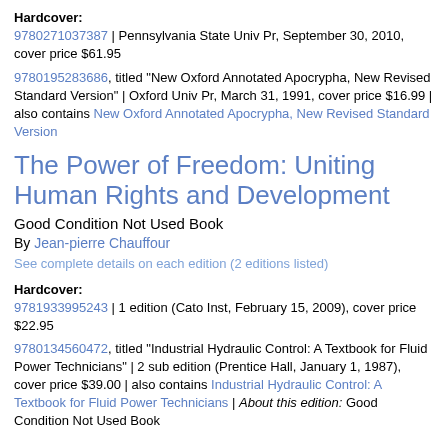Hardcover:
9780271037387 | Pennsylvania State Univ Pr, September 30, 2010, cover price $61.95
9780195283686, titled "New Oxford Annotated Apocrypha, New Revised Standard Version" | Oxford Univ Pr, March 31, 1991, cover price $16.99 | also contains New Oxford Annotated Apocrypha, New Revised Standard Version
The Power of Freedom: Uniting Human Rights and Development
Good Condition Not Used Book
By Jean-pierre Chauffour
See complete details on each edition (2 editions listed)
Hardcover:
9781933995243 | 1 edition (Cato Inst, February 15, 2009), cover price $22.95
9780134560472, titled "Industrial Hydraulic Control: A Textbook for Fluid Power Technicians" | 2 sub edition (Prentice Hall, January 1, 1987), cover price $39.00 | also contains Industrial Hydraulic Control: A Textbook for Fluid Power Technicians | About this edition: Good Condition Not Used Book